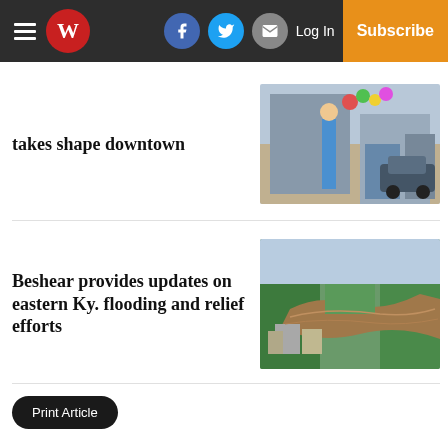W — [hamburger menu] [Facebook] [Twitter] [Email] Log In Subscribe
takes shape downtown
[Figure (photo): Person in blue shirt hanging colorful decorations on a downtown building exterior, street and parked car visible]
Beshear provides updates on eastern Ky. flooding and relief efforts
[Figure (photo): Aerial view of flooded eastern Kentucky landscape showing brown river flooding through forested area with buildings visible]
Print Article